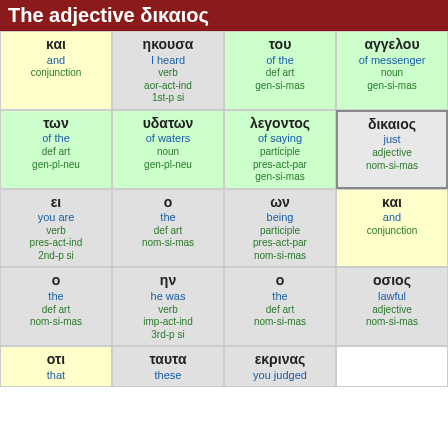The adjective δικαιος
| και / and / conjunction | ηκουσα / I heard / verb aor-act-ind 1st-p si | του / of the / def art gen-si-mas | αγγελου / of messenger / noun gen-si-mas |
| των / of the / def art gen-pl-neu | υδατων / of waters / noun gen-pl-neu | λεγοντος / of saying / participle pres-act-par gen-si-mas | δικαιος / just / adjective nom-si-mas |
| ει / you are / verb pres-act-ind 2nd-p si | ο / the / def art nom-si-mas | ων / being / participle pres-act-par nom-si-mas | και / and / conjunction |
| ο / the / def art nom-si-mas | ην / he was / verb imp-act-ind 3rd-p si | ο / the / def art nom-si-mas | οσιος / lawful / adjective nom-si-mas |
| οτι / that | ταυτα / these | εκρινας / you judged |  |